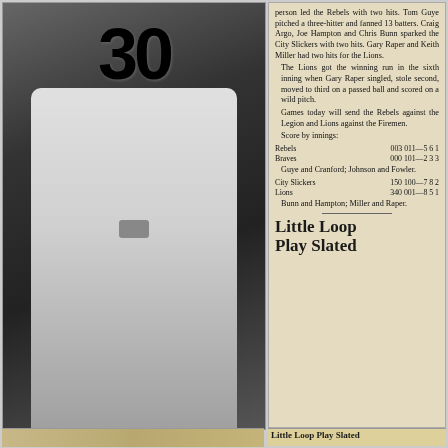[Figure (photo): Black and white photo of a football player wearing jersey number 30, in white uniform, facing away from camera]
person led the Rebels with two hits. Tom Guye pitched a three-hitter and fanned 13 batters. Craig Argo, Joe Hampton and Chris Bunn sparked the City Slickers with two hits. Gary Raper and Keith Miller had two hits for the Lions.
  The Lions got the winning run in the sixth inning when Gary Raper singled, stole second, moved to third on a passed ball and scored on a wild pitch.
  Games today will send the Rebels against the Legion and Lions against the Firemen.
  Score by innings:
Rebels         003 011—5 6 1
Braves            000 101—2 3 3
  Guye and Cranford; Johnson and Fowler.
City Slickers   150 100—7 8 2
Lions              340 001—8 5 1
  Bunn and Hampton; Miller and Raper.
Little Loop Play Slated
[Figure (photo): Color photograph showing a group of people outdoors]
[Figure (photo): Newspaper clipping with headline 'Little Loop Play Slated']